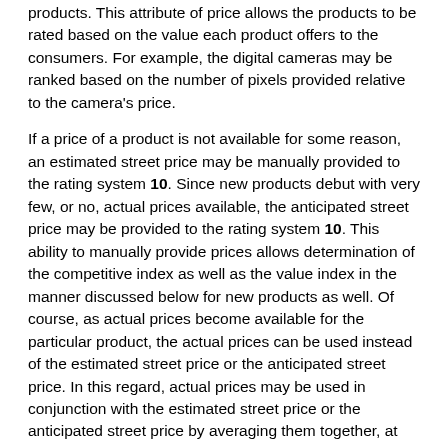products. This attribute of price allows the products to be rated based on the value each product offers to the consumers. For example, the digital cameras may be ranked based on the number of pixels provided relative to the camera's price.
If a price of a product is not available for some reason, an estimated street price may be manually provided to the rating system 10. Since new products debut with very few, or no, actual prices available, the anticipated street price may be provided to the rating system 10. This ability to manually provide prices allows determination of the competitive index as well as the value index in the manner discussed below for new products as well. Of course, as actual prices become available for the particular product, the actual prices can be used instead of the estimated street price or the anticipated street price. In this regard, actual prices may be used in conjunction with the estimated street price or the anticipated street price by averaging them together, at least until a predetermined number of actual prices are available for use. For example, if an anticipated street price is initially set at $500, and then the first merchant price comes in at $600, then both prices are used by averaging them together to derive an "estimated street price" of $550. However when more than a predetermined number of merchant prices are found, for instance, three merchants, the anticipated street price is no longer used and the actual prices can be used instead. If, in this example, all three merchants priced the product at $600, the price used is $600.